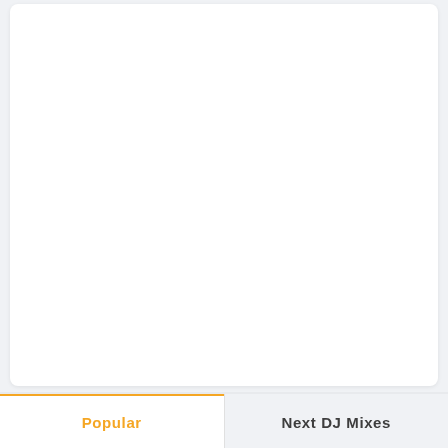[Figure (other): Large white card/panel area, mostly blank white space representing a content area]
Popular
Next DJ Mixes